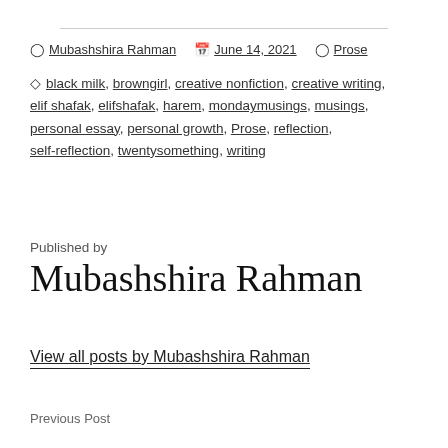Mubashshira Rahman   June 14, 2021   Prose
black milk, browngirl, creative nonfiction, creative writing, elif shafak, elifshafak, harem, mondaymusings, musings, personal essay, personal growth, Prose, reflection, self-reflection, twentysomething, writing
Published by
Mubashshira Rahman
View all posts by Mubashshira Rahman
Previous Post